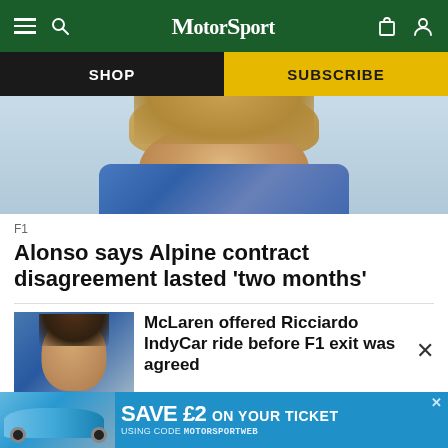MotorSport
SHOP
SUBSCRIBE
[Figure (photo): Close-up portrait of a racing driver, Fernando Alonso, wearing a blue floral shirt, looking upward with a serious expression against a light blue sky background.]
F1
Alonso says Alpine contract disagreement lasted 'two months'
[Figure (photo): Thumbnail portrait of Daniel Ricciardo wearing a racing helmet and suit, colorful background.]
McLaren offered Ricciardo IndyCar ride before F1 exit was agreed
[Figure (photo): Advertisement banner showing a light blue Porsche 911 classic car with text 'SAVE £2 ON YOUR TICKET USING CODE MOTORSPORTWEB']